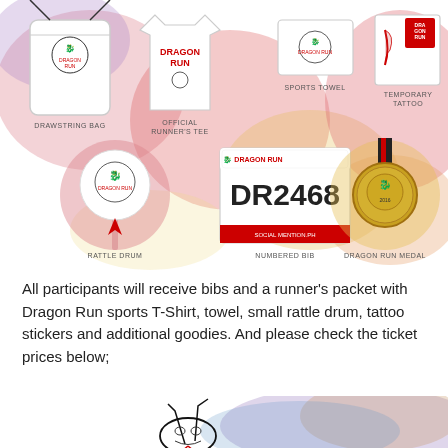[Figure (illustration): Race packet items illustration showing: Drawstring Bag, Official Runner's Tee (Dragon Run branded white shirt), Sports Towel, Temporary Tattoo (top row); Rattle Drum, Numbered Bib (DR2468), Dragon Run Medal (bottom row). Colorful watercolor background with pinks, purples, yellows, and oranges.]
All participants will receive bibs and a runner's packet with Dragon Run sports T-Shirt, towel, small rattle drum, tattoo stickers and additional goodies. And please check the ticket prices below;
[Figure (illustration): Dragon mascot head illustration (black ink line drawing of dragon face with horns) partially visible at bottom of page, with colorful watercolor splash background in blues, purples, and oranges.]